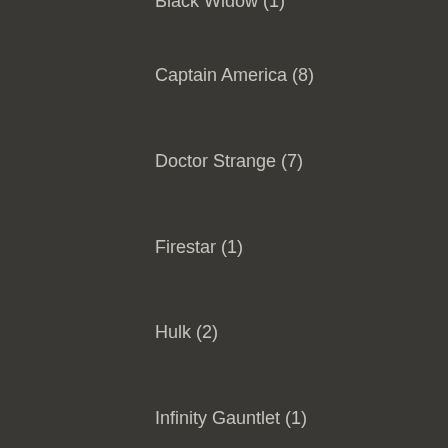Black Widow (1)
Captain America (8)
Doctor Strange (7)
Firestar (1)
Hulk (2)
Infinity Gauntlet (1)
Infinity Saga (6)
Iron Man (9)
M.O.D.O.K. (1)
Thor (13)
War Machine (1)
Fantastic Four (7)
Guardians of the Galaxy (2)